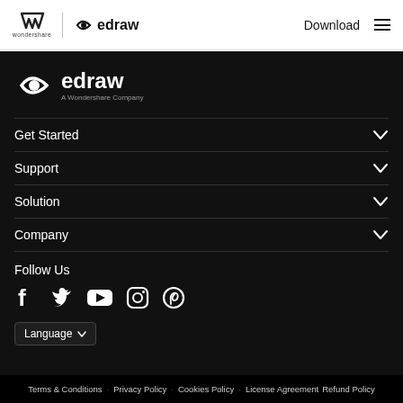Wondershare edraw | Download
[Figure (logo): Edraw - A Wondershare Company white logo on black background]
Get Started
Support
Solution
Company
Follow Us
[Figure (infographic): Social media icons: Facebook, Twitter, YouTube, Instagram, Pinterest]
Language
Terms & Conditions · Privacy Policy · Cookies Policy · License Agreement · Refund Policy